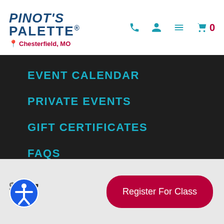Pinot's Palette — Chesterfield, MO
EVENT CALENDAR
PRIVATE EVENTS
GIFT CERTIFICATES
FAQS
SHOP
BLOG
$37
Register For Class